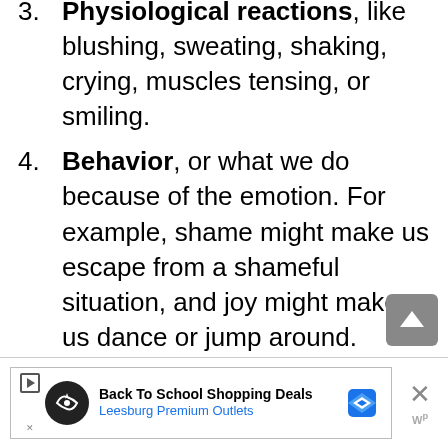3. Physiological reactions, like blushing, sweating, shaking, crying, muscles tensing, or smiling.
4. Behavior, or what we do because of the emotion. For example, shame might make us escape from a shameful situation, and joy might make us dance or jump around.
[Figure (other): Advertisement banner: Back To School Shopping Deals - Leesburg Premium Outlets]